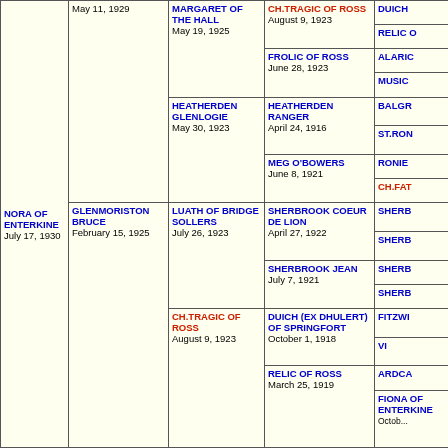[Figure (organizational-chart): Pedigree/genealogy table showing dog ancestry. Columns represent generations. Entries include dog names in blue or red, and dates in black. Main subject: NORA OF ENTERKINE, July 17, 1930. Ancestors include GLENMORISTON BRUCE, MARGARET OF THE HALL, HEATHERDEN GLENLOGIE, LUATH OF BRIDGE SOLLERS, CH.TRAGIC OF ROSS, FIONA OF ENTERKINE, and many others with dates.]